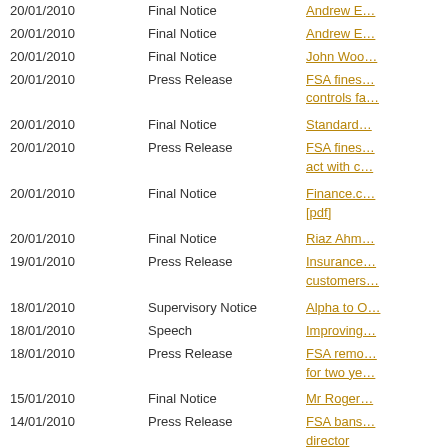| Date | Type | Link |
| --- | --- | --- |
| 20/01/2010 | Final Notice | Andrew E… |
| 20/01/2010 | Final Notice | Andrew E… |
| 20/01/2010 | Final Notice | John Woo… |
| 20/01/2010 | Press Release | FSA fines… controls fa… |
| 20/01/2010 | Final Notice | Standard… |
| 20/01/2010 | Press Release | FSA fines… act with c… |
| 20/01/2010 | Final Notice | Finance.c… [pdf] |
| 20/01/2010 | Final Notice | Riaz Ahm… |
| 19/01/2010 | Press Release | Insurance… customers… |
| 18/01/2010 | Supervisory Notice | Alpha to O… |
| 18/01/2010 | Speech | Improving… |
| 18/01/2010 | Press Release | FSA remo… for two ye… |
| 15/01/2010 | Final Notice | Mr Roger… |
| 14/01/2010 | Press Release | FSA bans… director |
| 13/01/2010 | Final Notice | Wilmot Fi… |
| 13/01/2010 | Dear CEO Letter | FSA requ… [pdf] |
| 12/01/2010 | Supervisory Notice | Edinburgh… |
| 12/01/2010 | Final Notice | NFS York… |
| 12/01/2010 | Press Release | FSA takes… of openn… |